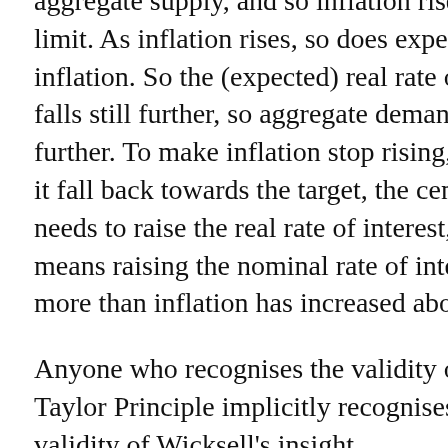aggregate supply, and so inflation rises without limit. As inflation rises, so does expected inflation. So the (expected) real rate of interest falls still further, so aggregate demand rises still further. To make inflation stop rising, and make it fall back towards the target, the central bank needs to raise the real rate of interest, which means raising the nominal rate of interest by more than inflation has increased above target.
Anyone who recognises the validity of the Taylor Principle implicitly recognises the validity of Wicksell's insight